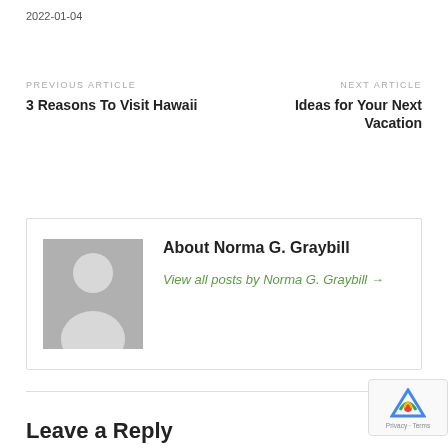2022-01-04
PREVIOUS ARTICLE
3 Reasons To Visit Hawaii
NEXT ARTICLE
Ideas for Your Next Vacation
[Figure (illustration): Author avatar placeholder with grey silhouette of a person on grey background]
About Norma G. Graybill
View all posts by Norma G. Graybill →
Leave a Reply